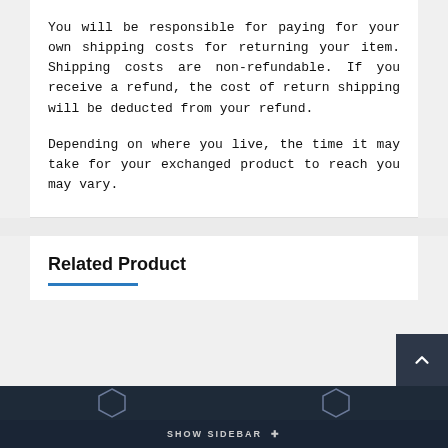You will be responsible for paying for your own shipping costs for returning your item. Shipping costs are non-refundable. If you receive a refund, the cost of return shipping will be deducted from your refund.
Depending on where you live, the time it may take for your exchanged product to reach you may vary.
Related Product
SHOW SIDEBAR